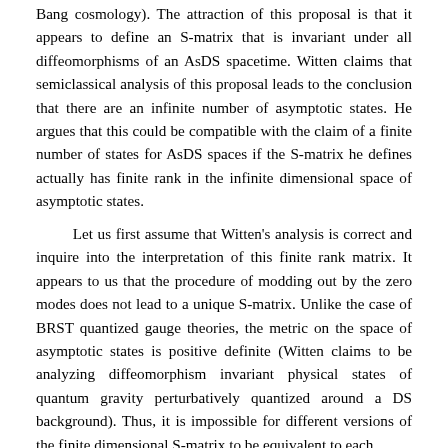Bang cosmology). The attraction of this proposal is that it appears to define an S-matrix that is invariant under all diffeomorphisms of an AsDS spacetime. Witten claims that semiclassical analysis of this proposal leads to the conclusion that there are an infinite number of asymptotic states. He argues that this could be compatible with the claim of a finite number of states for AsDS spaces if the S-matrix he defines actually has finite rank in the infinite dimensional space of asymptotic states.

	Let us first assume that Witten's analysis is correct and inquire into the interpretation of this finite rank matrix. It appears to us that the procedure of modding out by the zero modes does not lead to a unique S-matrix. Unlike the case of BRST quantized gauge theories, the metric on the space of asymptotic states is positive definite (Witten claims to be analyzing diffeomorphism invariant physical states of quantum gravity perturbatively quantized around a DS background). Thus, it is impossible for different versions of the finite dimensional S-matrix to be equivalent to each